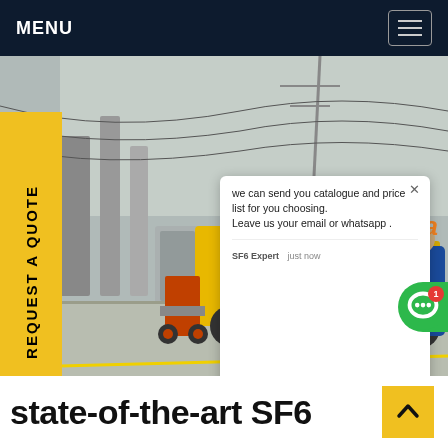MENU
[Figure (photo): An electrical substation yard with high-voltage equipment and power lines. A yellow Isuzu truck is parked on a concrete road with a worker in blue coveralls. SF6 gas handling cart is visible on the left side near the truck. Overlaid chat popup reads: 'we can send you catalogue and price list for you choosing. Leave us your email or whatsapp .' SF6 Expert, just now. Write a [thumbs-up][paperclip]]
state-of-the-art SF6